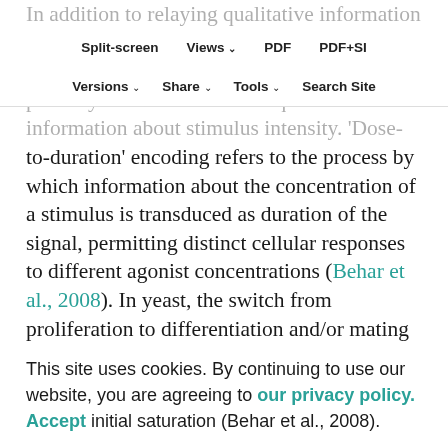Split-screen | Views | PDF | PDF+SI
Versions | Share | Tools | Search Site
In addition to relaying qualitative information about the presence/absence of a stimulus, receptors and their associated signaling pathways must also transmit quantitative information about stimulus intensity. 'Dose-to-duration' encoding refers to the process by which information about the concentration of a stimulus is transduced as duration of the signal, permitting distinct cellular responses to different agonist concentrations (Behar et al., 2008). In yeast, the switch from proliferation to differentiation and/or mating is dependent both on pheromone concentration and the duration of downstream mitogen-activated protein kinase (MAPK) activity. Behar et al. proposed a model in which negative feedback regulation of the signal that causes concentration-dependent initial saturation (Behar et al., 2008).
This site uses cookies. By continuing to use our website, you are agreeing to our privacy policy. Accept